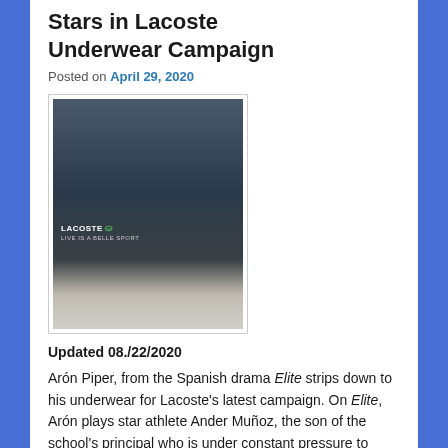Stars in Lacoste Underwear Campaign
Posted on April 29, 2020
[Figure (photo): Promotional photo of Arón Piper for Lacoste underwear campaign, shirtless wearing Lacoste underwear and grey shorts against a dark background]
Updated 08./22/2020
Arón Piper, from the Spanish drama Elite strips down to his underwear for Lacoste's latest campaign. On Elite, Arón plays star athlete Ander Muñoz, the son of the school's principal who is under constant pressure to excel. The third season of the hit Netflix series premiered on March 13th, 2020.